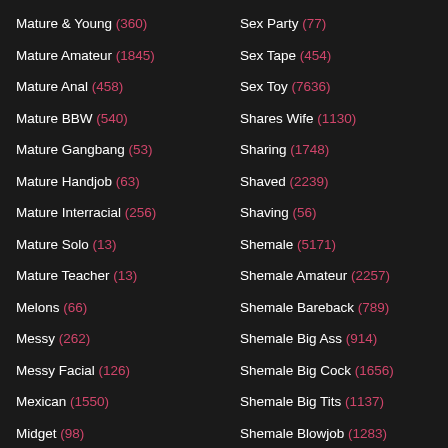Mature & Young (360)
Mature Amateur (1845)
Mature Anal (458)
Mature BBW (540)
Mature Gangbang (53)
Mature Handjob (63)
Mature Interracial (256)
Mature Solo (13)
Mature Teacher (13)
Melons (66)
Messy (262)
Messy Facial (126)
Mexican (1550)
Midget (98)
Milf Solo (230)
Military (112)
Sex Party (77)
Sex Tape (454)
Sex Toy (7636)
Shares Wife (1130)
Sharing (1748)
Shaved (2239)
Shaving (56)
Shemale (5171)
Shemale Amateur (2257)
Shemale Bareback (789)
Shemale Big Ass (914)
Shemale Big Cock (1656)
Shemale Big Tits (1137)
Shemale Blowjob (1283)
Shemale Cumshot (117)
Shemale Domination (18)